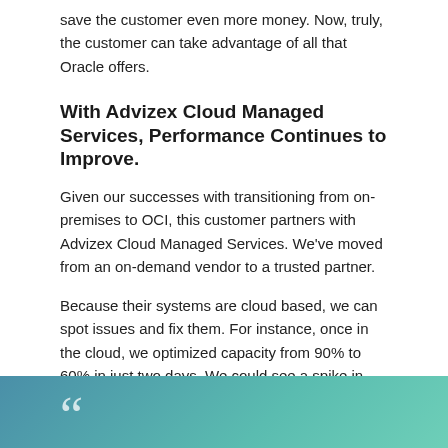save the customer even more money. Now, truly, the customer can take advantage of all that Oracle offers.
With Advizex Cloud Managed Services, Performance Continues to Improve.
Given our successes with transitioning from on-premises to OCI, this customer partners with Advizex Cloud Managed Services. We’ve moved from an on-demand vendor to a trusted partner.
Because their systems are cloud based, we can spot issues and fix them. For instance, once in the cloud, we optimized capacity from 90% to 60% in just two days. We could see a spike in usage happening and investigate it. We found numerous performance issues and fixed them all. Even the owner is looking at the cloud’s graphs, because he’s excited about his company’s now solid foundation.
[Figure (other): Teal/blue gradient quote box with large opening quotation marks in white at the bottom of the page.]